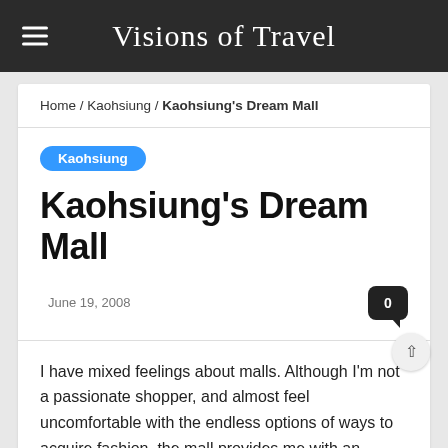Visions of Travel
Home / Kaohsiung / Kaohsiung's Dream Mall
Kaohsiung
Kaohsiung's Dream Mall
June 19, 2008
I have mixed feelings about malls. Although I'm not a passionate shopper, and almost feel uncomfortable with the endless options of ways to acquire fashion, the mall provides me with an opportunity for wandering and watching people